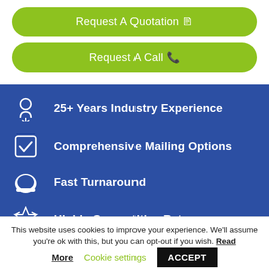[Figure (other): Green rounded button labeled 'Request A Quotation' with a document icon]
[Figure (other): Green rounded button labeled 'Request A Call' with a phone icon]
25+ Years Industry Experience
Comprehensive Mailing Options
Fast Turnaround
Highly Competitive Rates
Extensive In-house Equipment
This website uses cookies to improve your experience. We'll assume you're ok with this, but you can opt-out if you wish. Read More
Cookie settings
ACCEPT